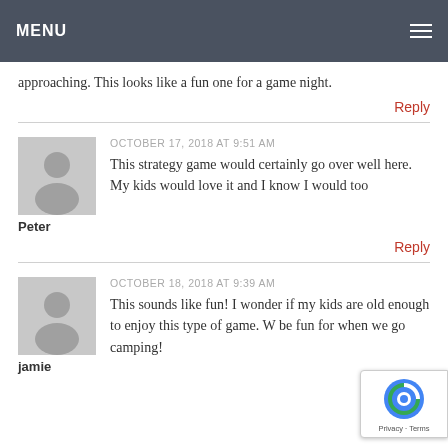MENU
approaching. This looks like a fun one for a game night.
Reply
OCTOBER 17, 2018 AT 9:51 AM
This strategy game would certainly go over well here. My kids would love it and I know I would too
Peter
Reply
OCTOBER 18, 2018 AT 9:39 AM
This sounds like fun! I wonder if my kids are old enough to enjoy this type of game. W be fun for when we go camping!
jamie